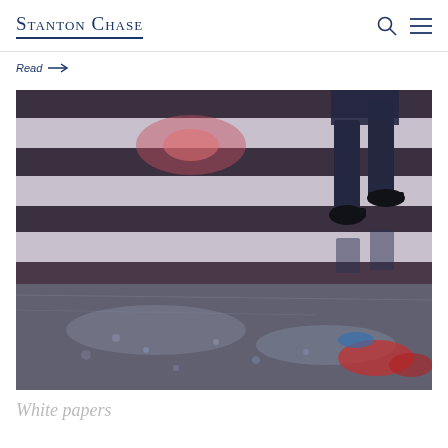Stanton Chase
Read →
[Figure (photo): A rainy urban crosswalk with white and dark horizontal stripes. A person's legs in dark pants and dark shoes are visible crossing from the right side. Colorful reflections (red, blue) appear in the wet pavement below.]
White papers